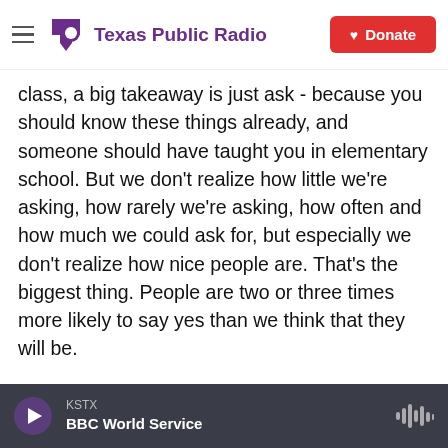Texas Public Radio | Donate
class, a big takeaway is just ask - because you should know these things already, and someone should have taught you in elementary school. But we don't realize how little we're asking, how rarely we're asking, how often and how much we could ask for, but especially we don't realize how nice people are. That's the biggest thing. People are two or three times more likely to say yes than we think that they will be.
MARTINEZ: There was a part of the book that really kind of sucked me in, and that was the magic question. What is the magic question, and why is it
KSTX | BBC World Service